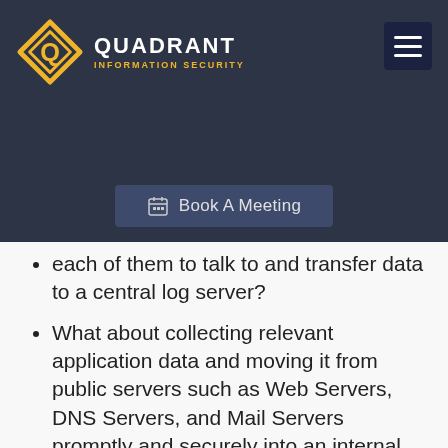[Figure (logo): Quadrant Information Security logo with diamond shape and hamburger menu button on dark navy header]
Book A Meeting
each of them to talk to and transfer data to a central log server?
What about collecting relevant application data and moving it from public servers such as Web Servers, DNS Servers, and Mail Servers promptly and securely into an internal environment?
In a retail environment, are you prepared to collect and